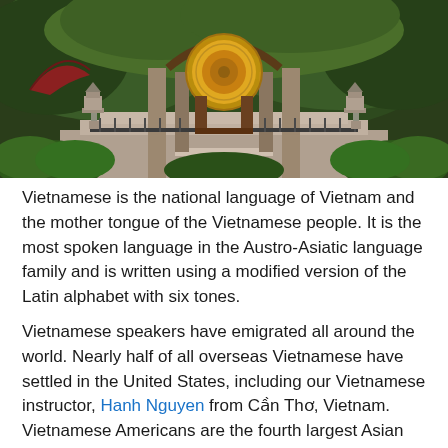[Figure (photo): A Vietnamese temple/pavilion with large circular gong, classical architecture with decorative roof, surrounded by lush green trees. Stone lanterns on either side, steps leading up to the structure.]
Vietnamese is the national language of Vietnam and the mother tongue of the Vietnamese people. It is the most spoken language in the Austro-Asiatic language family and is written using a modified version of the Latin alphabet with six tones.
Vietnamese speakers have emigrated all around the world. Nearly half of all overseas Vietnamese have settled in the United States, including our Vietnamese instructor, Hanh Nguyen from Cần Thơ, Vietnam. Vietnamese Americans are the fourth largest Asian American ethnic group in the country. Over five million tourists have visited Vietnam in the past year.